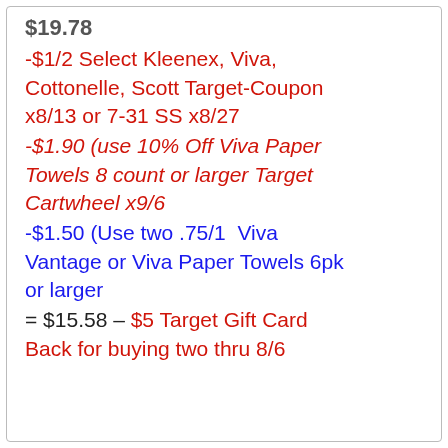$19.78
-$1/2 Select Kleenex, Viva, Cottonelle, Scott Target-Coupon x8/13 or 7-31 SS x8/27
-$1.90 (use 10% Off Viva Paper Towels 8 count or larger Target Cartwheel x9/6
-$1.50 (Use two .75/1  Viva Vantage or Viva Paper Towels 6pk or larger
= $15.58 – $5 Target Gift Card Back for buying two thru 8/6